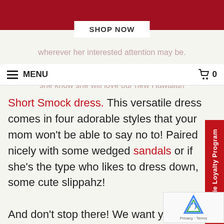[Figure (screenshot): Dark red top banner at top of page]
SHOP NOW
wherever her interested attention may be.
MENU  0
she know she will love our new Hawaiian Short Smock dress. This versatile dress comes in four adorable styles that your mom won't be able to say no to! Paired nicely with some wedged sandals or if she's the type who likes to dress down, some cute slippahz!
And don't stop there! We want your amazing mom to be decked out! Which calls for accessories! Don't let her leave the house without a new pair of Maui Diver's Plumeria Earrings (just in time for plumerias to be blooming!) and make sure she keeps her must-have belongings in the vibrant Island Impressions Medium Tote
Hilo Hattie Loyalty Program